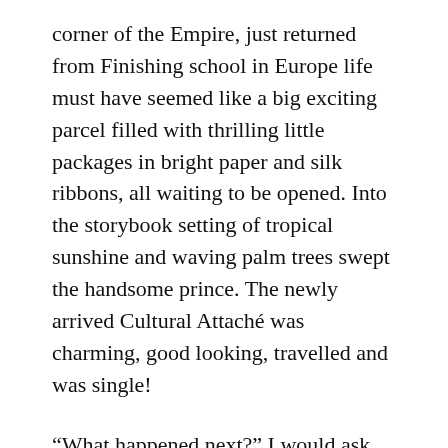corner of the Empire, just returned from Finishing school in Europe life must have seemed like a big exciting parcel filled with thrilling little packages in bright paper and silk ribbons, all waiting to be opened. Into the storybook setting of tropical sunshine and waving palm trees swept the handsome prince. The newly arrived Cultural Attaché was charming, good looking, travelled and was single!
“What happened next?” I would ask when I was told this story.
“Well” my Mother would say “My Mother thought he was too old for me, and Dad